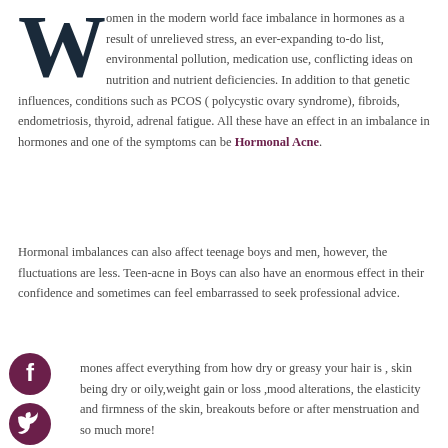Women in the modern world face imbalance in hormones as a result of unrelieved stress, an ever-expanding to-do list, environmental pollution, medication use, conflicting ideas on nutrition and nutrient deficiencies. In addition to that genetic influences, conditions such as PCOS ( polycystic ovary syndrome), fibroids, endometriosis, thyroid, adrenal fatigue. All these have an effect in an imbalance in hormones and one of the symptoms can be Hormonal Acne.
Hormonal imbalances can also affect teenage boys and men, however, the fluctuations are less. Teen-acne in Boys can also have an enormous effect in their confidence and sometimes can feel embarrassed to seek professional advice.
Hormones affect everything from how dry or greasy your hair is , skin being dry or oily,weight gain or loss ,mood alterations, the elasticity and firmness of the skin, breakouts before or after menstruation and so much more!
[Figure (illustration): Social media icons: Facebook, Twitter, Instagram arranged vertically on the left side of the third paragraph]